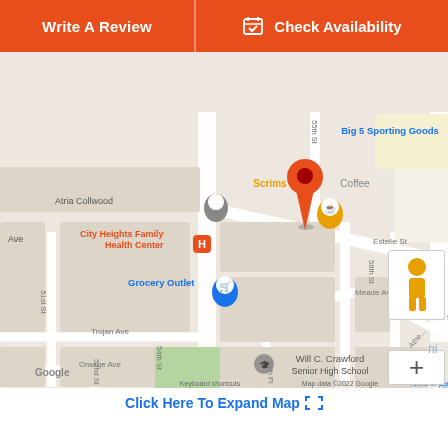Write A Review
Check Availability
[Figure (map): Google Map showing area around City Heights, San Diego, CA. Shows streets including 51st St, 52nd St, 54th St, 55th St, 56th St, 58th St, 60th St, Trojan Ave, Orange Ave, Estelle St, Meade Ave, Vale Way. Locations marked include Atria Collwood, City Heights Family Health Center, Grocery Outlet, Scrimshaw Coffee, Big 5 Sporting Goods, Will C. Crawford Senior High School. A red pin marks a specific location near 55th St. Map data ©2022 Google. Includes zoom controls and street view pegman. Neighborhoods EL CERRIT and DEL SOL visible.]
Click Here To Expand Map